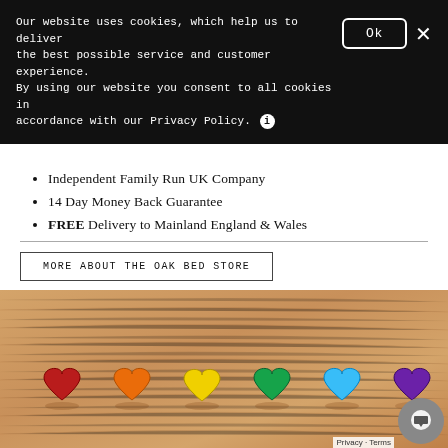Our website uses cookies, which help us to deliver the best possible service and customer experience. By using our website you consent to all cookies in accordance with our Privacy Policy.
Independent Family Run UK Company
14 Day Money Back Guarantee
FREE Delivery to Mainland England & Wales
MORE ABOUT THE OAK BED STORE
[Figure (photo): Wooden surface with a row of rainbow-coloured heart shapes arranged left to right: red, orange, yellow, green, teal/blue, purple.]